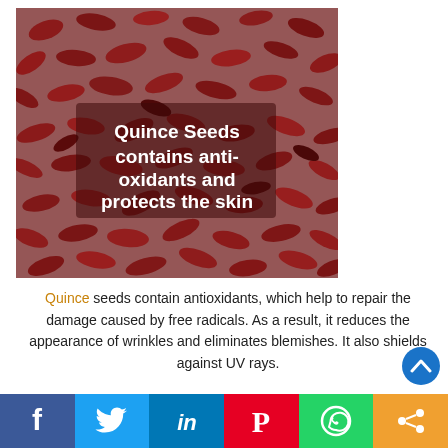[Figure (photo): Close-up photograph of many dark red quince seeds scattered on a white surface. Overlaid in the center is bold white text on a semi-transparent dark background reading: 'Quince Seeds contains anti-oxidants and protects the skin']
Quince seeds contain antioxidants, which help to repair the damage caused by free radicals. As a result, it reduces the appearance of wrinkles and eliminates blemishes. It also shields against UV rays.
[Figure (infographic): Social sharing bar with six colored buttons: Facebook (blue, f icon), Twitter (light blue, bird icon), LinkedIn (dark blue, in icon), Pinterest (red, P icon), WhatsApp (green, phone icon), Share (orange, share icon)]